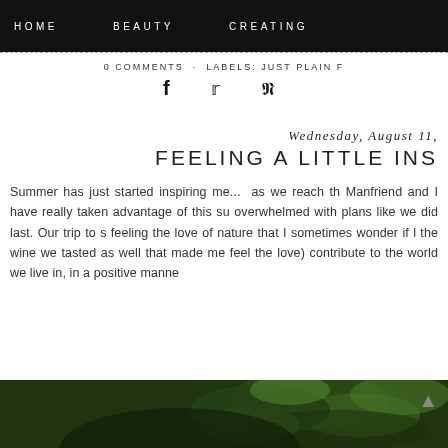HOME   BEAUTY   CREATING
0 COMMENTS · LABELS: JUST PLAIN F
f  ♥  p
Wednesday, August 11,
FEELING A LITTLE INS
Summer has just started inspiring me...  as we reach th Manfriend and I have really taken advantage of this su overwhelmed with plans like we did last. Our trip to s feeling the love of nature that I sometimes wonder if l the wine we tasted as well that made me feel the love) contribute to the world we live in, in a positive manne
[Figure (photo): Bottom image strip showing green foliage/nature photo, partially visible at the bottom of the page]